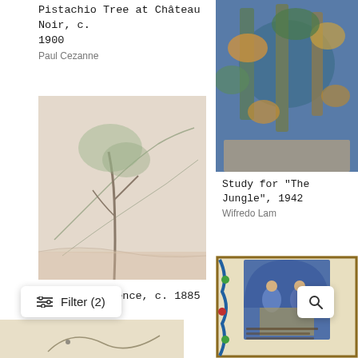Pistachio Tree at Château Noir, c. 1900
Paul Cezanne
[Figure (photo): Painting of jungle-like scene with tall figures among dense blue and green foliage with orange highlights — Study for The Jungle by Wifredo Lam]
Study for “The Jungle”, 1942
Wifredo Lam
[Figure (photo): Pencil sketch drawing of a tree and landscape — Road in Provence by Paul Cezanne]
Road in Provence, c. 1885
Paul Cezanne
[Figure (photo): Illuminated manuscript page with decorated border featuring a religious scene — Nativity or Annunciation with angel figures, rich floral border in blue and gold]
[Figure (photo): Partial view of artwork at bottom left — a light colored sketch or drawing]
Filter (2)